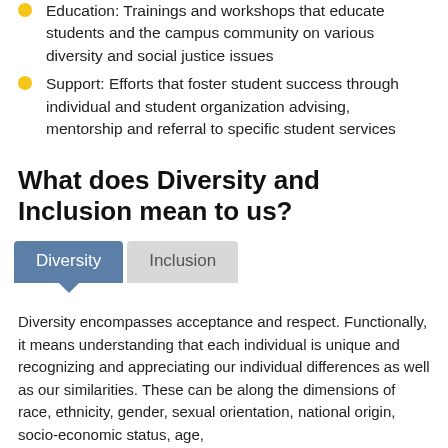Education: Trainings and workshops that educate students and the campus community on various diversity and social justice issues
Support: Efforts that foster student success through individual and student organization advising, mentorship and referral to specific student services
What does Diversity and Inclusion mean to us?
[Figure (infographic): Tab UI with two tabs: 'Diversity' (active, blue with downward arrow/pointer) and 'Inclusion' (inactive, gray)]
Diversity encompasses acceptance and respect. Functionally, it means understanding that each individual is unique and recognizing and appreciating our individual differences as well as our similarities. These can be along the dimensions of race, ethnicity, gender, sexual orientation, national origin, socio-economic status, age,